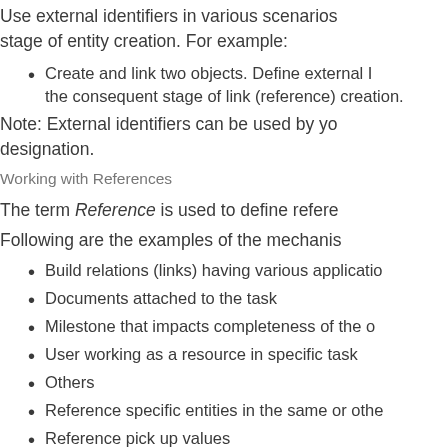Use external identifiers in various scenarios stage of entity creation. For example:
Create and link two objects. Define external I the consequent stage of link (reference) creation.
Note: External identifiers can be used by yo designation.
Working with References
The term Reference is used to define refere
Following are the examples of the mechanis
Build relations (links) having various applicatio
Documents attached to the task
Milestone that impacts completeness of the o
User working as a resource in specific task
Others
Reference specific entities in the same or othe
Reference pick up values